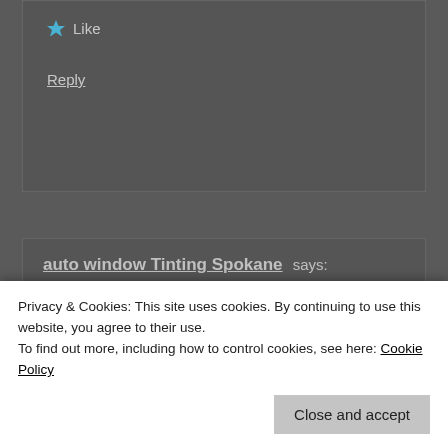★ Like
Reply
auto window Tinting Spokane says:
May 18, 2015 at 10:07 AM
Hello there, You have done an incredible job. I will definitely digg it and personally recommend to my friends. I am sure they will
Privacy & Cookies: This site uses cookies. By continuing to use this website, you agree to their use.
To find out more, including how to control cookies, see here: Cookie Policy
Close and accept